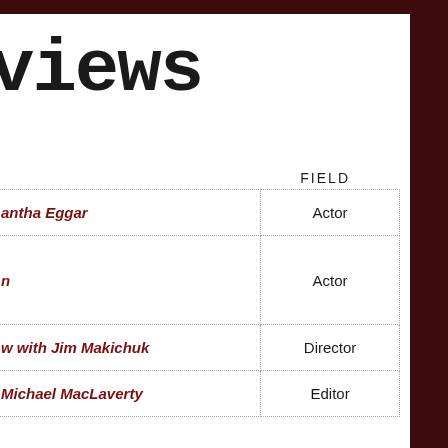views
| NAME | FIELD |
| --- | --- |
| Samantha Eggar | Actor |
| n | Actor |
| w with Jim Makichuk | Director |
| Michael MacLaverty | Editor |